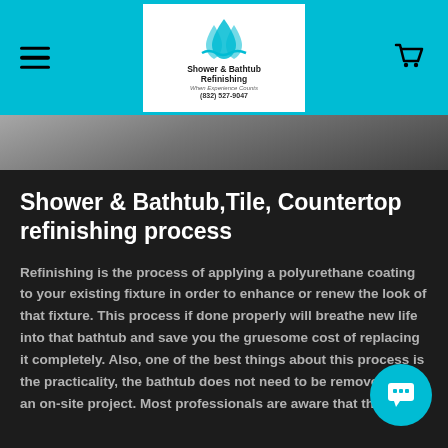Shower & Bathtub Refinishing — When Experience Counts — (832) 527-9047
[Figure (photo): Hero image strip showing a bathtub/bathroom, dark gradient]
Shower & Bathtub,Tile, Countertop refinishing process
Refinishing is the process of applying a polyurethane coating to your existing fixture in order to enhance or renew the look of that fixture. This process if done properly will breathe new life into that bathtub and save you the gruesome cost of replacing it completely. Also, one of the best things about this process is the practicality, the bathtub does not need to be removed, it is an on-site project. Most professionals are aware that they are